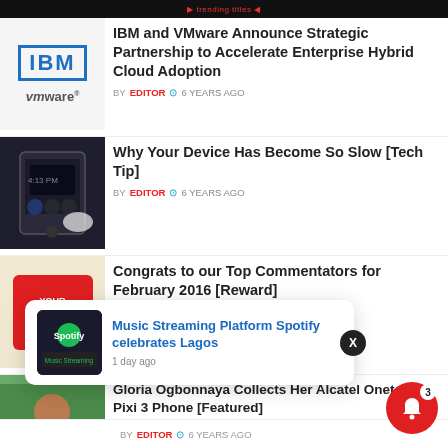IBM and VMware Announce Strategic Partnership to Accelerate Enterprise Hybrid Cloud Adoption
BY EDITOR  6 YEARS AGO
Why Your Device Has Become So Slow [Tech Tip]
BY EDITOR  6 YEARS AGO
Congrats to our Top Commentators for February 2016 [Reward]
BY EDITOR  6 YEARS AGO
Gloria Ogbonnaya Collects Her Alcatel Onetouch Pixi 3 Phone [Featured]
BY EDITOR  6 YEARS AGO
[Figure (screenshot): Notification popup: Music Streaming Platform Spotify celebrates Lagos, 1 day ago]
BY EDITOR  6 YEARS AGO